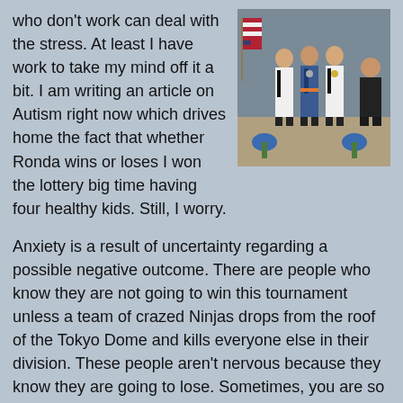who don't work can deal with the stress. At least I have work to take my mind off it a bit. I am writing an article on Autism right now which drives home the fact that whether Ronda wins or loses I won the lottery big time having four healthy kids. Still, I worry.
[Figure (photo): Group photo of people in martial arts uniforms and formal wear, standing in front of an American flag.]
Anxiety is a result of uncertainty regarding a possible negative outcome. There are people who know they are not going to win this tournament unless a team of crazed Ninjas drops from the roof of the Tokyo Dome and kills everyone else in their division. These people aren't nervous because they know they are going to lose. Sometimes, you are so far above the competition that you know you are going to win, and so you aren't anxious then, either.
Last week at the USJA Winter Nationals, I wasn't too nervous. While Ronda had never fought Patricia before, I had seen them both compete and I was pretty certain Ronda would win. I must admit, though, that Patricia gave us a scare at the very beginning of the match when she almost